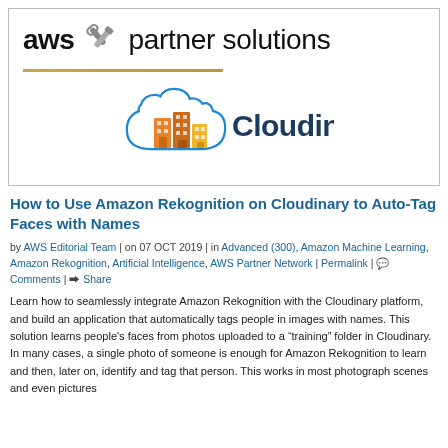[Figure (logo): AWS Partner Solutions header with crossed screwdriver and wrench icon, a gold horizontal rule, and the Cloudinary logo (cloud icon with building silhouettes and 'Cloudinary' text)]
How to Use Amazon Rekognition on Cloudinary to Auto-Tag Faces with Names
by AWS Editorial Team | on 07 OCT 2019 | in Advanced (300), Amazon Machine Learning, Amazon Rekognition, Artificial Intelligence, AWS Partner Network | Permalink | Comments | Share
Learn how to seamlessly integrate Amazon Rekognition with the Cloudinary platform, and build an application that automatically tags people in images with names. This solution learns people's faces from photos uploaded to a "training" folder in Cloudinary. In many cases, a single photo of someone is enough for Amazon Rekognition to learn and then, later on, identify and tag that person. This works in most photograph scenes and even pictures